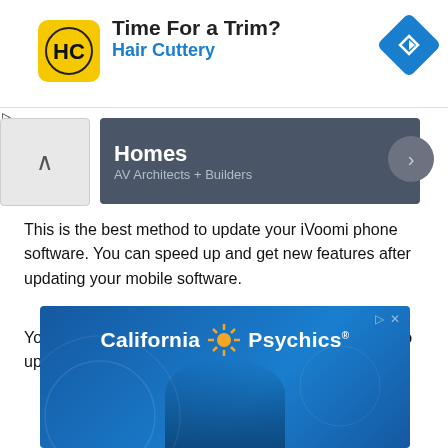[Figure (screenshot): Hair Cuttery advertisement banner with yellow HC logo, 'Time For a Trim?' headline, 'Hair Cuttery' subtitle in blue, and blue navigation diamond icon]
[Figure (screenshot): Homes / AV Architects + Builders dark grey navigation banner with up-chevron on left and right-arrow circle on right]
This is the best method to update your iVoomi phone software. You can speed up and get new features after updating your mobile software.
Your mobile must have an active internet connection to update with this method.
[Figure (screenshot): California Psychics advertisement banner with blue background, sun/star graphic, brand name text, and partial image of a woman]